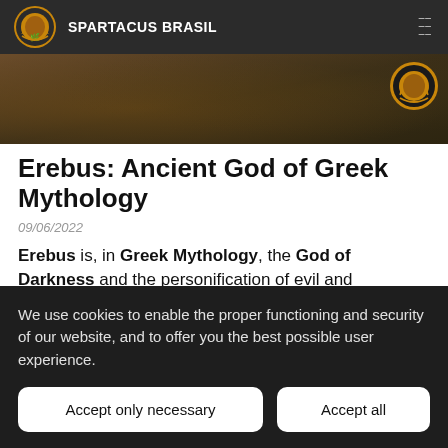SPARTACUS BRASIL
[Figure (photo): Hero image strip showing a dark fantasy/ancient warrior scene with a gold laurel wreath watermark logo in the top right corner]
Erebus: Ancient God of Greek Mythology
09/06/2022
Erebus is, in Greek Mythology, the God of Darkness and the personification of evil and darkness; he is Nix's brother and lives in a dark and empty place called Void,
We use cookies to enable the proper functioning and security of our website, and to offer you the best possible user experience.